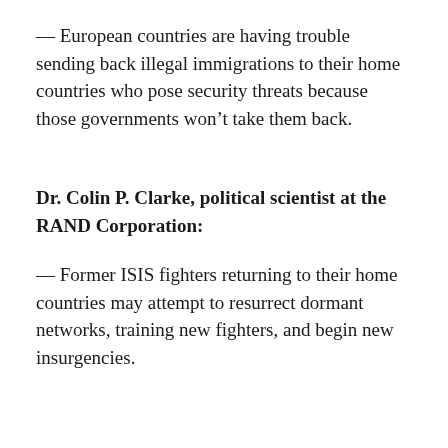— European countries are having trouble sending back illegal immigrations to their home countries who pose security threats because those governments won't take them back.
Dr. Colin P. Clarke, political scientist at the RAND Corporation:
— Former ISIS fighters returning to their home countries may attempt to resurrect dormant networks, training new fighters, and begin new insurgencies.